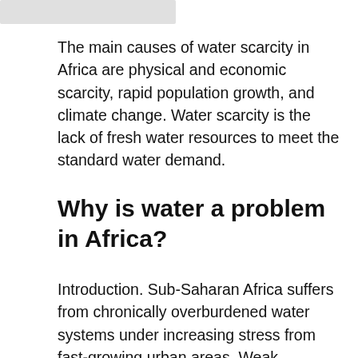[Figure (other): Partial image at top left corner, appears to be a photograph or illustration, mostly cropped out of view.]
The main causes of water scarcity in Africa are physical and economic scarcity, rapid population growth, and climate change. Water scarcity is the lack of fresh water resources to meet the standard water demand.
Why is water a problem in Africa?
Introduction. Sub-Saharan Africa suffers from chronically overburdened water systems under increasing stress from fast-growing urban areas. Weak governments, corruption, mismanagement of resources, poor long-term investment, and a lack of